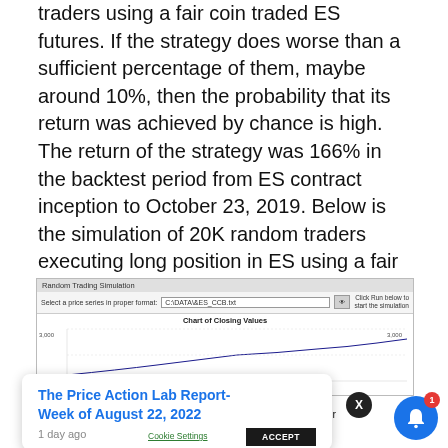traders using a fair coin traded ES futures. If the strategy does worse than a sufficient percentage of them, maybe around 10%, then the probability that its return was achieved by chance is high. The return of the strategy was 166% in the backtest period from ES contract inception to October 23, 2019. Below is the simulation of 20K random traders executing long position in ES using a fair coin as generated by DLPAL S software.
[Figure (screenshot): Random Trading Simulation software screenshot showing a file input field with 'C:\DATA\&ES_CCB.txt', a 'Click Run below to start the simulation' instruction, and a 'Chart of Closing Values' with a price chart showing values around 3,000.]
We use cookies on this site and around the web to improve your ... his site we will ... out if you wi...
[Figure (other): Tooltip popup showing 'The Price Action Lab Report- Week of August 22, 2022' with '1 day ago' text. A close (X) button and notification bell with badge showing 1.]